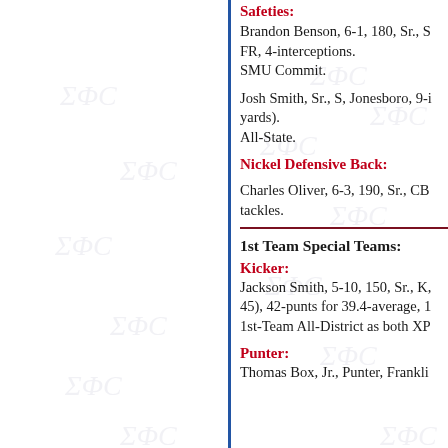Safeties:
Brandon Benson, 6-1, 180, Sr., S FR, 4-interceptions. SMU Commit.
Josh Smith, Sr., S, Jonesboro, 9-i yards). All-State.
Nickel Defensive Back:
Charles Oliver, 6-3, 190, Sr., CB tackles.
1st Team Special Teams:
Kicker:
Jackson Smith, 5-10, 150, Sr., K, 45), 42-punts for 39.4-average, 1 1st-Team All-District as both XP
Punter:
Thomas Box, Jr., Punter, Frankli